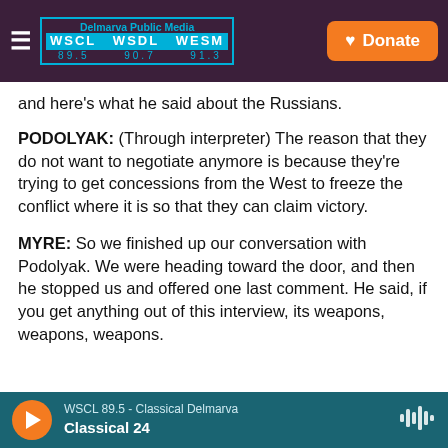Delmarva Public Media WSCL WSDL WESM 89.5 90.7 91.3 | Donate
and here's what he said about the Russians.
PODOLYAK: (Through interpreter) The reason that they do not want to negotiate anymore is because they're trying to get concessions from the West to freeze the conflict where it is so that they can claim victory.
MYRE: So we finished up our conversation with Podolyak. We were heading toward the door, and then he stopped us and offered one last comment. He said, if you get anything out of this interview, its weapons, weapons, weapons.
WSCL 89.5 - Classical Delmarva | Classical 24